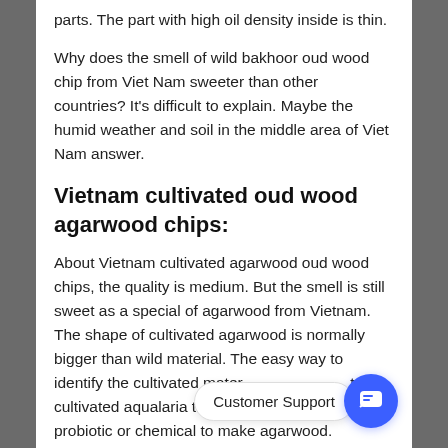parts. The part with high oil density inside is thin.
Why does the smell of wild bakhoor oud wood chip from Viet Nam sweeter than other countries? It's difficult to explain. Maybe the humid weather and soil in the middle area of Viet Nam answer.
Vietnam cultivated oud wood agarwood chips:
About Vietnam cultivated agarwood oud wood chips, the quality is medium. But the smell is still sweet as a special of agarwood from Vietnam. The shape of cultivated agarwood is normally bigger than wild material. The easy way to identify the cultivated mater... cultivated aqualaria trees need drill into and add probiotic or chemical to make agarwood.